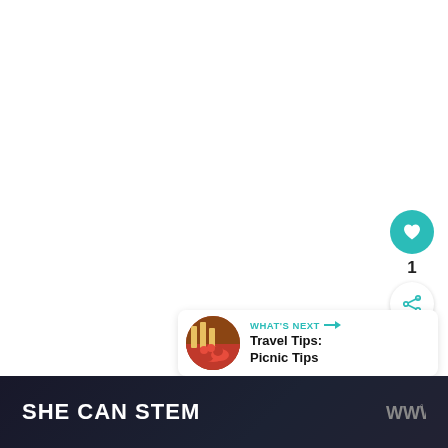[Figure (screenshot): White content area with social action buttons (heart/like and share) on the right side, and a 'What's Next' card showing 'Travel Tips: Picnic Tips' with a circular thumbnail image.]
1
WHAT'S NEXT → Travel Tips: Picnic Tips
SHE CAN STEM